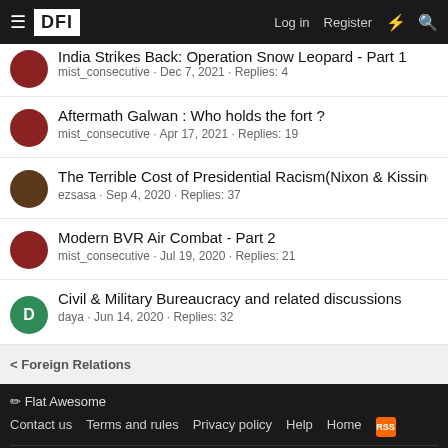DFI — Log in  Register
India Strikes Back: Operation Snow Leopard - Part 1
mist_consecutive · Dec 7, 2021 · Replies: 4
Aftermath Galwan : Who holds the fort ?
mist_consecutive · Apr 17, 2021 · Replies: 19
The Terrible Cost of Presidential Racism(Nixon & Kissing…
ezsasa · Sep 4, 2020 · Replies: 37
Modern BVR Air Combat - Part 2
mist_consecutive · Jul 19, 2020 · Replies: 21
Civil & Military Bureaucracy and related discussions
daya · Jun 14, 2020 · Replies: 32
< Foreign Relations
✏ Flat Awesome
Contact us  Terms and rules  Privacy policy  Help  Home  [RSS]
Forum software by XenForo® © 2010-2020 XenForo Ltd. | Add-Ons by xenMade.com
XenPorta 2 PRO © Jason Axelrod of 8WAYRUN